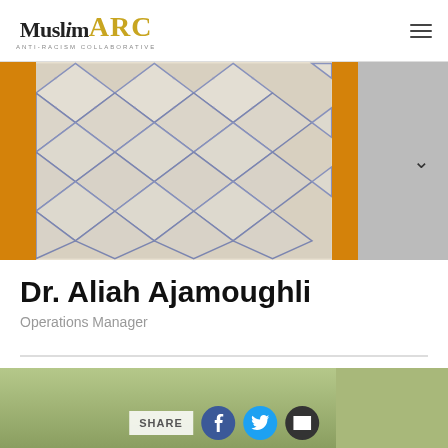Muslim ARC – Anti-Racism Collaborative
[Figure (photo): Close-up photo of a person wearing an orange hijab over a white and blue snake-print garment]
Dr. Aliah Ajamoughli
Operations Manager
[Figure (photo): Bottom partial photo with SHARE bar containing Facebook, Twitter, and email icons]